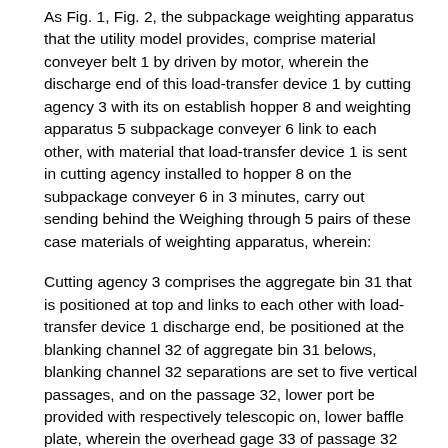As Fig. 1, Fig. 2, the subpackage weighting apparatus that the utility model provides, comprise material conveyer belt 1 by driven by motor, wherein the discharge end of this load-transfer device 1 by cutting agency 3 with its on establish hopper 8 and weighting apparatus 5 subpackage conveyer 6 link to each other, with material that load-transfer device 1 is sent in cutting agency installed to hopper 8 on the subpackage conveyer 6 in 3 minutes, carry out sending behind the Weighing through 5 pairs of these case materials of weighting apparatus, wherein:
Cutting agency 3 comprises the aggregate bin 31 that is positioned at top and links to each other with load-transfer device 1 discharge end, be positioned at the blanking channel 32 of aggregate bin 31 belows, blanking channel 32 separations are set to five vertical passages, and on the passage 32, lower port be provided with respectively telescopic on, lower baffle plate, wherein the overhead gage 33 of passage 32 upper port is made of framework 331 and the straight-bars of being located in the framework 331 at interval 332, and framework 331 links to each other with actuating cylinder 36, as Fig. 4, so that after driving frameworks 331 and move by cylinder 36,